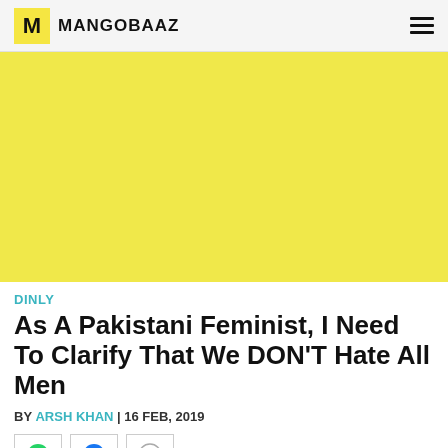MANGOBAAZ
[Figure (illustration): Yellow/lime colored hero image placeholder area]
DINLY
As A Pakistani Feminist, I Need To Clarify That We DON'T Hate All Men
BY ARSH KHAN | 16 FEB, 2019